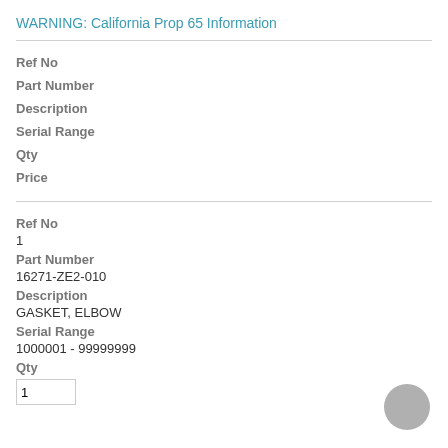WARNING: California Prop 65 Information
Ref No
Part Number
Description
Serial Range
Qty
Price
Ref No
1
Part Number
16271-ZE2-010
Description
GASKET, ELBOW
Serial Range
1000001 - 99999999
Qty
1